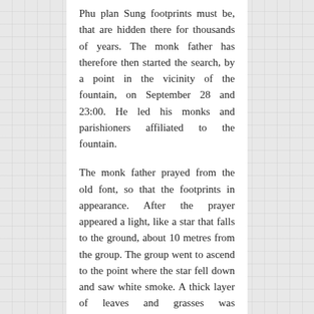Phu plan Sung footprints must be, that are hidden there for thousands of years. The monk father has therefore then started the search, by a point in the vicinity of the fountain, on September 28 and 23:00. He led his monks and parishioners affiliated to the fountain.
The monk father prayed from the old font, so that the footprints in appearance. After the prayer appeared a light, like a star that falls to the ground, about 10 metres from the group. The group went to ascend to the point where the star fell down and saw white smoke. A thick layer of leaves and grasses was approximately 1 square meter-wide at this point, the Group helped to liberate this area so the brush.
When the surface was laid bare, looked